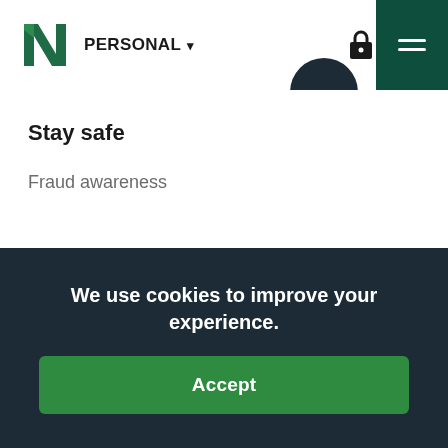PERSONAL
Stay safe
Fraud awareness
We use cookies to improve your experience.
Accept